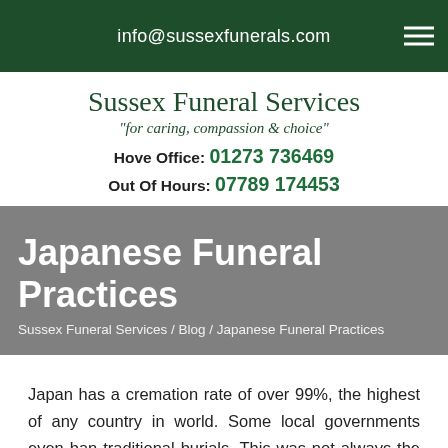info@sussexfunerals.com
Sussex Funeral Services
"for caring, compassion & choice"
Hove Office: 01273 736469
Out Of Hours: 07789 174453
Japanese Funeral Practices
Sussex Funeral Services / Blog / Japanese Funeral Practices
Japan has a cremation rate of over 99%, the highest of any country in world. Some local governments even ban traditional burials. This was not always the case – before World War II, cremation was only practised by the very rich, but after the